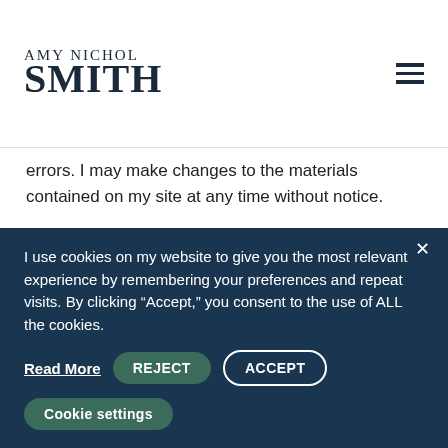AMY NICHOL SMITH
errors. I may make changes to the materials contained on my site at any time without notice.
What Information Does This Site Collect?
If you voluntarily sign up for my newsletter, respond to a survey, or fill out a form on my site, the third-party email marketing program I use records your email address, and other personal information (PI), if
I use cookies on my website to give you the most relevant experience by remembering your preferences and repeat visits. By clicking “Accept,” you consent to the use of ALL the cookies.